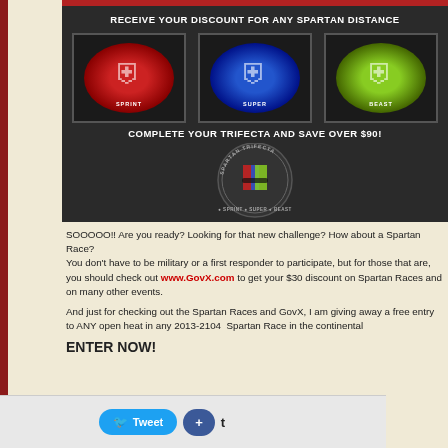[Figure (illustration): Spartan Race advertisement banner on dark background showing three badge logos (Sprint in red, Super in blue, Beast in green) with text 'RECEIVE YOUR DISCOUNT FOR ANY SPARTAN DISTANCE' and 'COMPLETE YOUR TRIFECTA AND SAVE OVER $90!' with a circular Spartan Trifecta logo at bottom]
SOOOOO!! Are you ready? Looking for that new challenge? How about a Spartan Race? You don't have to be military or a first responder to participate, but for those that are, you should check out www.GovX.com to get your $30 discount on Spartan Races and on many other events.
And just for checking out the Spartan Races and GovX, I am giving away a free entry to ANY open heat in any 2013-2104 Spartan Race in the continental
ENTER NOW!